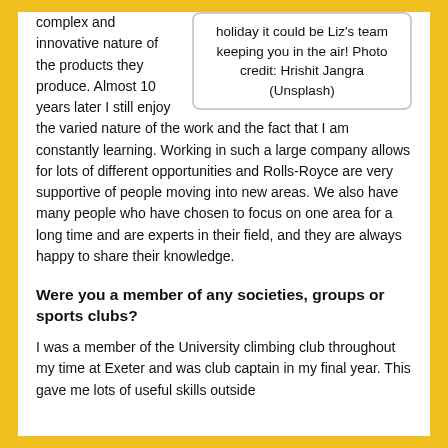holiday it could be Liz's team keeping you in the air! Photo credit: Hrishit Jangra (Unsplash)
complex and innovative nature of the products they produce. Almost 10 years later I still enjoy the varied nature of the work and the fact that I am constantly learning. Working in such a large company allows for lots of different opportunities and Rolls-Royce are very supportive of people moving into new areas. We also have many people who have chosen to focus on one area for a long time and are experts in their field, and they are always happy to share their knowledge.
Were you a member of any societies, groups or sports clubs?
I was a member of the University climbing club throughout my time at Exeter and was club captain in my final year. This gave me lots of useful skills outside